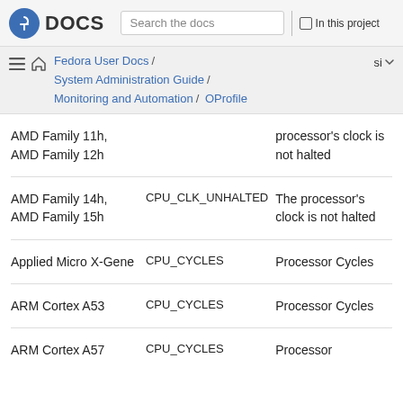Fedora DOCS | Search the docs | In this project
Fedora User Docs / System Administration Guide / Monitoring and Automation / OProfile
| Processor | Event | Description |
| --- | --- | --- |
| AMD Family 11h, AMD Family 12h |  | processor's clock is not halted |
| AMD Family 14h, AMD Family 15h | CPU_CLK_UNHALTED | The processor's clock is not halted |
| Applied Micro X-Gene | CPU_CYCLES | Processor Cycles |
| ARM Cortex A53 | CPU_CYCLES | Processor Cycles |
| ARM Cortex A57 | CPU_CYCLES | Processor |